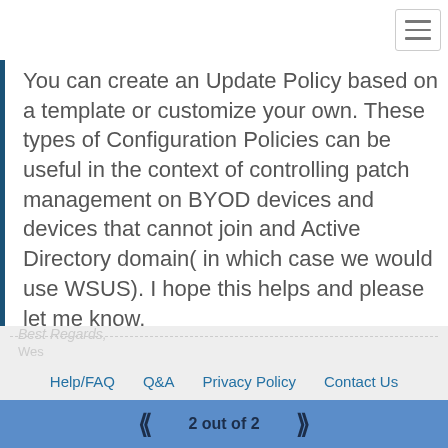You can create an Update Policy based on a template or customize your own. These types of Configuration Policies can be useful in the context of controlling patch management on BYOD devices and devices that cannot join and Active Directory domain( in which case we would use WSUS). I hope this helps and please let me know.
Thanks,
Wes
Help/FAQ | Q&A | Privacy Policy | Contact Us | ITProTV Team | Plans and Pricing | About | EULA
2 out of 2